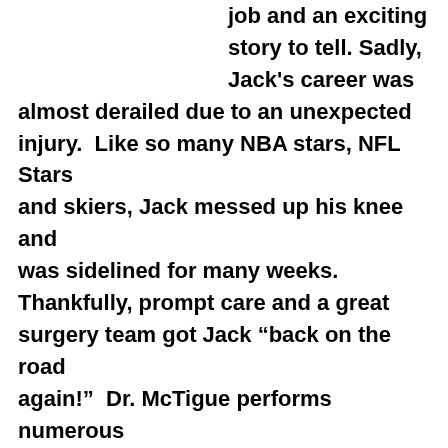job and an exciting story to tell. Sadly, Jack's career was almost derailed due to an unexpected injury.  Like so many NBA stars, NFL Stars and skiers, Jack messed up his knee and was sidelined for many weeks. Thankfully, prompt care and a great surgery team got Jack “back on the road again!”  Dr. McTigue performs numerous cruciate surgeries at our hospital each year.

Just one look at Jack and you can tell that